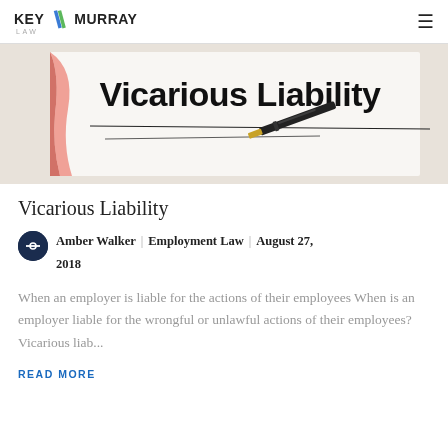KEY MURRAY LAW
[Figure (photo): Photo of a document with 'Vicarious Liability' text and a fountain pen resting on it, diagonal line across the paper]
Vicarious Liability
Amber Walker  |  Employment Law  |  August 27, 2018
When an employer is liable for the actions of their employees When is an employer liable for the wrongful or unlawful actions of their employees? Vicarious liab...
READ MORE